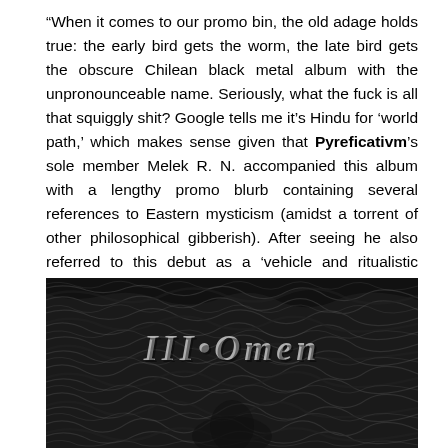“When it comes to our promo bin, the old adage holds true: the early bird gets the worm, the late bird gets the obscure Chilean black metal album with the unpronounceable name. Seriously, what the fuck is all that squiggly shit? Google tells me it’s Hindu for ‘world path,’ which makes sense given that Pyreficativm’s sole member Melek R. N. accompanied this album with a lengthy promo blurb containing several references to Eastern mysticism (amidst a torrent of other philosophical gibberish). After seeing he also referred to this debut as a ‘vehicle and ritualistic vessel,’ my pretense sensors went off the charts. Suddenly I feel like I’ve stumbled upon a South American version of Vardan that Enjoys ov Deep Soma.” I am become daft.
[Figure (illustration): Black and white album artwork showing swirling, wave-like dark textures with gothic lettering reading 'III. Omen' overlaid on the image]